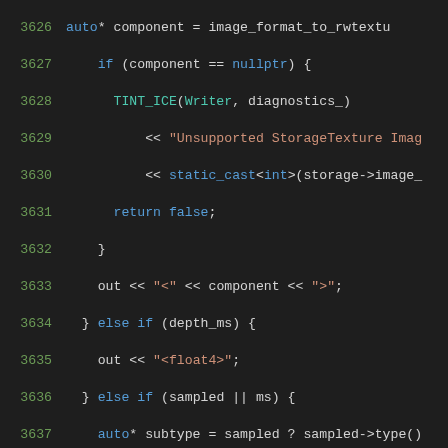[Figure (screenshot): Source code listing in a dark-themed code editor (C++), lines 3626–3647, showing texture format handling logic with syntax highlighting: blue keywords, green strings, teal identifiers/macros, gray line numbers.]